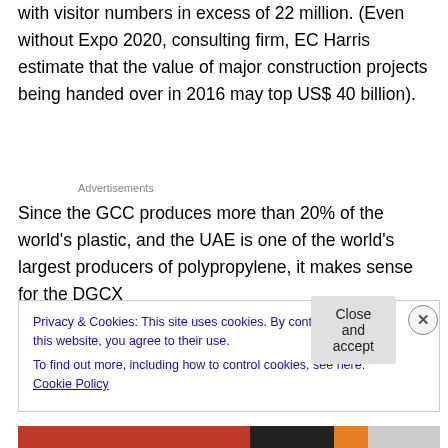with visitor numbers in excess of 22 million. (Even without Expo 2020, consulting firm, EC Harris estimate that the value of major construction projects being handed over in 2016 may top US$ 40 billion).
Advertisements
Since the GCC produces more than 20% of the world's plastic, and the UAE is one of the world's largest producers of polypropylene, it makes sense for the DGCX
Privacy & Cookies: This site uses cookies. By continuing to use this website, you agree to their use.
To find out more, including how to control cookies, see here: Cookie Policy
Close and accept